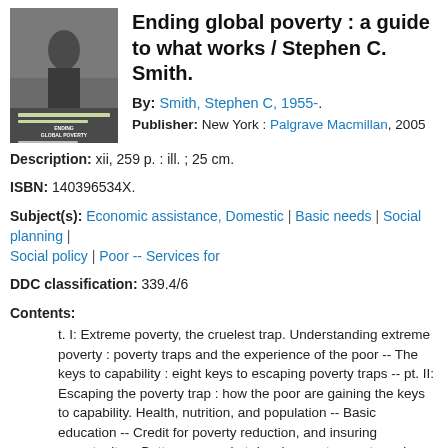[Figure (photo): Black and white book cover image for 'Ending Global Poverty' by Stephen C. Smith]
Ending global poverty : a guide to what works / Stephen C. Smith.
By: Smith, Stephen C, 1955-.
Publisher: New York : Palgrave Macmillan, 2005
Description: xii, 259 p. : ill. ; 25 cm.
ISBN: 140396534X.
Subject(s): Economic assistance, Domestic | Basic needs | Social planning | Social policy | Poor -- Services for
DDC classification: 339.4/6
Contents:
t. I: Extreme poverty, the cruelest trap. Understanding extreme poverty : poverty traps and the experience of the poor -- The keys to capability : eight keys to escaping poverty traps -- pt. II: Escaping the poverty trap : how the poor are gaining the keys to capability. Health, nutrition, and population -- Basic education -- Credit for poverty reduction, and insuring opportunity -- Bottom-up market development : assets and access for the poor -- Entitlement to new technologies and the capability to